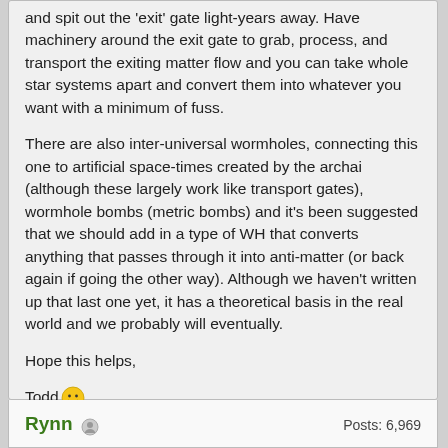and spit out the 'exit' gate light-years away. Have machinery around the exit gate to grab, process, and transport the exiting matter flow and you can take whole star systems apart and convert them into whatever you want with a minimum of fuss.
There are also inter-universal wormholes, connecting this one to artificial space-times created by the archai (although these largely work like transport gates), wormhole bombs (metric bombs) and it's been suggested that we should add in a type of WH that converts anything that passes through it into anti-matter (or back again if going the other way). Although we haven't written up that last one yet, it has a theoretical basis in the real world and we probably will eventually.
Hope this helps,
Todd 😊
Rynn   Posts: 6,969